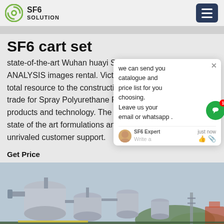SF6 SOLUTION
SF6 cart set
state-of-the-art Wuhan huayi SF6 cart set,sf6 mix ANALYSIS images rental. Victory Po… total resource to the construction an… trade for Spray Polyurethane Foam… products and technology. The comp… state of the art formulations and… unrivaled customer support.
Get Price
[Figure (photo): Industrial SF6 gas handling equipment / cart set mounted outdoors, showing large cylindrical metal vessels and piping, with green and orange industrial structures in background]
[Figure (screenshot): Chat popup overlay: 'we can send you catalogue and price list for you choosing. Leave us your email or whatsapp .' with SF6 Expert agent and just now timestamp, write a message box with thumbs up and attachment icons]